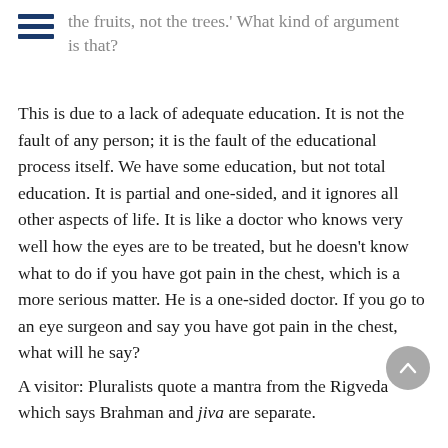the fruits, not the trees.' What kind of argument is that?
This is due to a lack of adequate education. It is not the fault of any person; it is the fault of the educational process itself. We have some education, but not total education. It is partial and one-sided, and it ignores all other aspects of life. It is like a doctor who knows very well how the eyes are to be treated, but he doesn't know what to do if you have got pain in the chest, which is a more serious matter. He is a one-sided doctor. If you go to an eye surgeon and say you have got pain in the chest, what will he say?
A visitor: Pluralists quote a mantra from the Rigveda which says Brahman and jiva are separate.